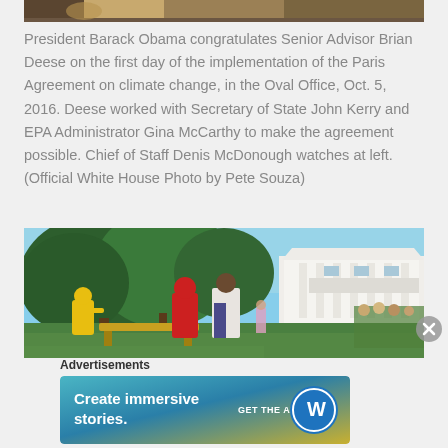[Figure (photo): Partial view of a photo at top of page, showing a desk or furniture]
President Barack Obama congratulates Senior Advisor Brian Deese on the first day of the implementation of the Paris Agreement on climate change, in the Oval Office, Oct. 5, 2016. Deese worked with Secretary of State John Kerry and EPA Administrator Gina McCarthy to make the agreement possible. Chief of Staff Denis McDonough watches at left. (Official White House Photo by Pete Souza)
[Figure (photo): Photo of President Obama with people in costumes (yellow and red figures) on the White House South Lawn, with trees and the White House portico visible in background]
Advertisements
[Figure (screenshot): Advertisement banner: Create immersive stories. GET THE APP [WordPress logo]]